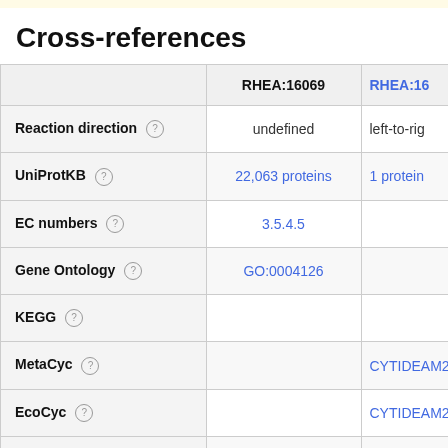Cross-references
|  | RHEA:16069 | RHEA:16... |
| --- | --- | --- |
| Reaction direction | undefined | left-to-rig... |
| UniProtKB | 22,063 proteins | 1 protein... |
| EC numbers | 3.5.4.5 |  |
| Gene Ontology | GO:0004126 |  |
| KEGG |  |  |
| MetaCyc |  | CYTIDEAM2... |
| EcoCyc |  | CYTIDEAM2... |
| M-CSA |  | M0097... |